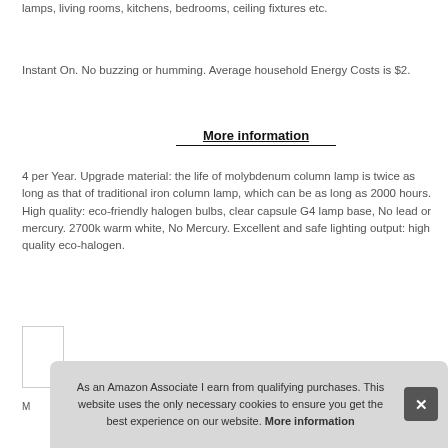lamps, living rooms, kitchens, bedrooms, ceiling fixtures etc.
Instant On. No buzzing or humming. Average household Energy Costs is $2.
More information
4 per Year. Upgrade material: the life of molybdenum column lamp is twice as long as that of traditional iron column lamp, which can be as long as 2000 hours. High quality: eco-friendly halogen bulbs, clear capsule G4 lamp base, No lead or mercury. 2700k warm white, No Mercury. Excellent and safe lighting output: high quality eco-halogen.
As an Amazon Associate I earn from qualifying purchases. This website uses the only necessary cookies to ensure you get the best experience on our website. More information